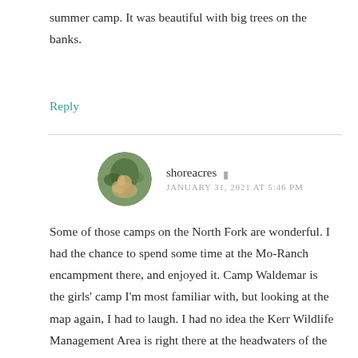summer camp. It was beautiful with big trees on the banks.
Reply
[Figure (photo): Circular avatar photo of user shoreacres, showing a nature/plant themed image with green and brown tones]
shoreacres
JANUARY 31, 2021 AT 5:46 PM
Some of those camps on the North Fork are wonderful. I had the chance to spend some time at the Mo-Ranch encampment there, and enjoyed it. Camp Waldemar is the girls' camp I'm most familiar with, but looking at the map again, I had to laugh. I had no idea the Kerr Wildlife Management Area is right there at the headwaters of the North Fork. It's